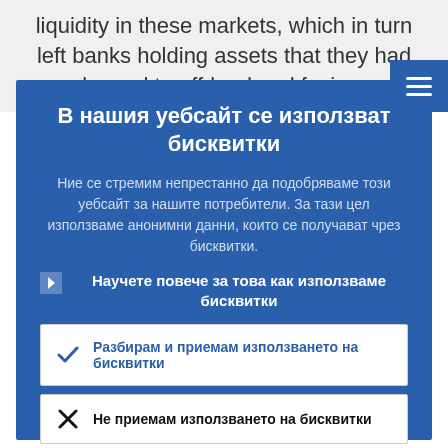liquidity in these markets, which in turn left banks holding assets that they had planned to off-load and facing...
В нашия уебсайт се използват бисквитки
Ние се стремим непрестанно да подобряваме този уебсайт за нашите потребители. За тази цел използваме анонимни данни, които се получават чрез бисквитки.
Научете повече за това как използваме бисквитки
Разбирам и приемам използването на бисквитки
Не приемам използването на бисквитки